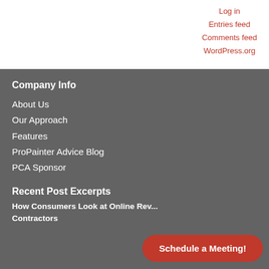Log in
Entries feed
Comments feed
WordPress.org
Company Info
About Us
Our Approach
Features
ProPainter Advice Blog
PCA Sponsor
Recent Post Excerpts
How Consumers Look at Online Reviews for Contractors